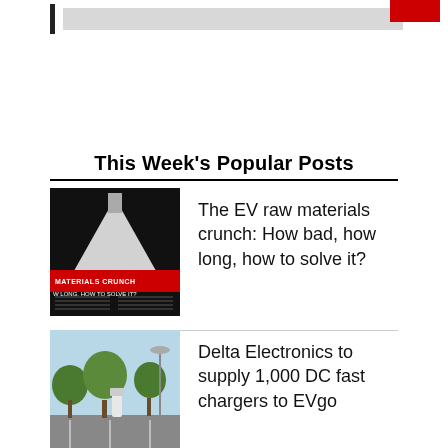This Week's Popular Posts
[Figure (photo): Magazine spread thumbnail showing 'Materials Crunch: How Long, How to Solve It?' article cover with black and white design and red text]
The EV raw materials crunch: How bad, how long, how to solve it?
[Figure (photo): Photo of an EV DC fast charging station in a parking lot with trees in the background]
Delta Electronics to supply 1,000 DC fast chargers to EVgo